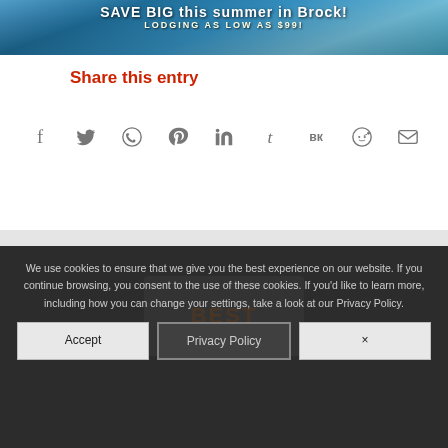[Figure (photo): Banner advertisement for summer lodging deal with blue water/floral background. Text: 'SAVE BIG this summer in Brock! LODGING AS LOW AS $99!']
Share this entry
[Figure (infographic): Row of social media share icons: Facebook, Twitter, WhatsApp, Pinterest, LinkedIn, Tumblr, VK, Reddit, Email]
We use cookies to ensure that we give you the best experience on our website. If you continue browsing, you consent to the use of these cookies. If you'd like to learn more, including how you can change your settings, take a look at our Privacy Policy.
Accept
Privacy Policy
×